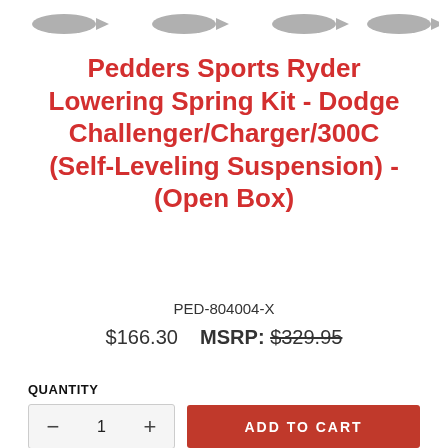[Figure (other): Navigation arrows row at top of page]
Pedders Sports Ryder Lowering Spring Kit - Dodge Challenger/Charger/300C (Self-Leveling Suspension) - (Open Box)
PED-804004-X
$166.30   MSRP: $329.95
QUANTITY
- 1 +   ADD TO CART